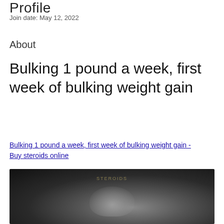Profile
Join date: May 12, 2022
About
Bulking 1 pound a week, first week of bulking weight gain
Bulking 1 pound a week, first week of bulking weight gain - Buy steroids online
[Figure (photo): Dark blurred image, possibly showing a person or fitness-related content with faint text overlay]